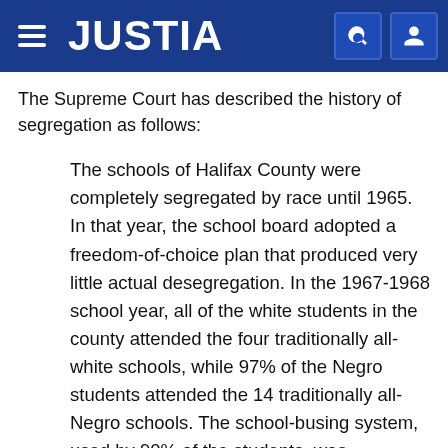JUSTIA
The Supreme Court has described the history of segregation as follows:
The schools of Halifax County were completely segregated by race until 1965. In that year, the school board adopted a freedom-of-choice plan that produced very little actual desegregation. In the 1967-1968 school year, all of the white students in the county attended the four traditionally all-white schools, while 97% of the Negro students attended the 14 traditionally all-Negro schools. The school-busing system, used by 90% of the students, was segregated by race, and faculty desegregation was minimal.